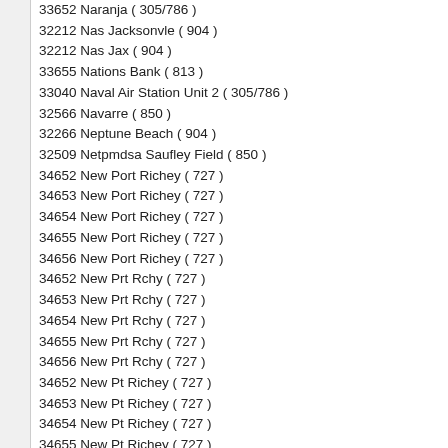33652 Naranja ( 305/786 )
32212 Nas Jacksonvle ( 904 )
32212 Nas Jax ( 904 )
33655 Nations Bank ( 813 )
33040 Naval Air Station Unit 2 ( 305/786 )
32566 Navarre ( 850 )
32266 Neptune Beach ( 904 )
32509 Netpmdsa Saufley Field ( 850 )
34652 New Port Richey ( 727 )
34653 New Port Richey ( 727 )
34654 New Port Richey ( 727 )
34655 New Port Richey ( 727 )
34656 New Port Richey ( 727 )
34652 New Prt Rchy ( 727 )
34653 New Prt Rchy ( 727 )
34654 New Prt Rchy ( 727 )
34655 New Prt Rchy ( 727 )
34656 New Prt Rchy ( 727 )
34652 New Pt Richey ( 727 )
34653 New Pt Richey ( 727 )
34654 New Pt Richey ( 727 )
34655 New Pt Richey ( 727 )
34656 New Pt Richey ( 727 )
32168 New Smyrna ( 386 )
32169 New Smyrna ( 386 )
32170 New Smyrna ( 386 )
32168 New Smyrna Beach ( 386 )
32169 New Smyrna Beach ( 386 )